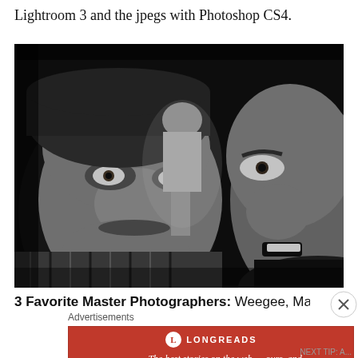Lightroom 3 and the jpegs with Photoshop CS4.
[Figure (photo): Black and white photograph of two men's faces close to the camera in the foreground, with a silhouetted figure standing in the background between them.]
3 Favorite Master Photographers: Weegee, Martin Parr
Advertisements
[Figure (logo): Longreads advertisement banner: red background with Longreads logo and the tagline 'The best stories on the web — ours, and everyone else's.']